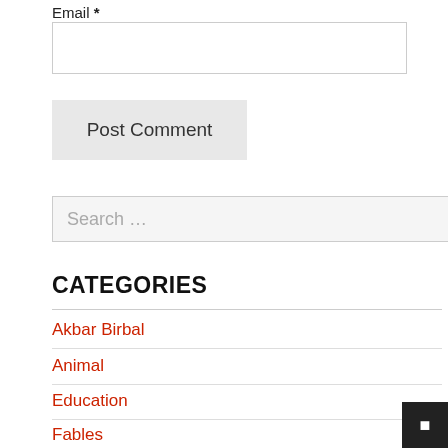Email *
Post Comment
Search …
CATEGORIES
Akbar Birbal
Animal
Education
Fables